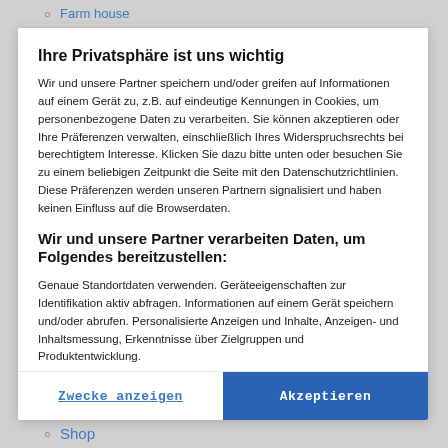Farm house
Ihre Privatsphäre ist uns wichtig
Wir und unsere Partner speichern und/oder greifen auf Informationen auf einem Gerät zu, z.B. auf eindeutige Kennungen in Cookies, um personenbezogene Daten zu verarbeiten. Sie können akzeptieren oder Ihre Präferenzen verwalten, einschließlich Ihres Widerspruchsrechts bei berechtigtem Interesse. Klicken Sie dazu bitte unten oder besuchen Sie zu einem beliebigen Zeitpunkt die Seite mit den Datenschutzrichtlinien. Diese Präferenzen werden unseren Partnern signalisiert und haben keinen Einfluss auf die Browserdaten.
Wir und unsere Partner verarbeiten Daten, um Folgendes bereitzustellen:
Genaue Standortdaten verwenden. Geräteeigenschaften zur Identifikation aktiv abfragen. Informationen auf einem Gerät speichern und/oder abrufen. Personalisierte Anzeigen und Inhalte, Anzeigen- und Inhaltsmessung, Erkenntnisse über Zielgruppen und Produktentwicklung.
Liste der Partner (Lieferanten)
Zwecke anzeigen
Akzeptieren
Shop